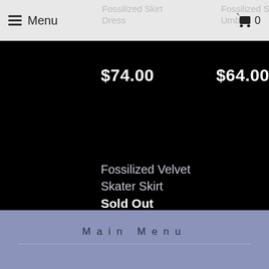Menu | Fossilized Skirt Dress | Fossilized Shirt in Umber | Cart 0
$74.00
$64.00
Fossilized Velvet Skater Skirt
Sold Out
Main Menu